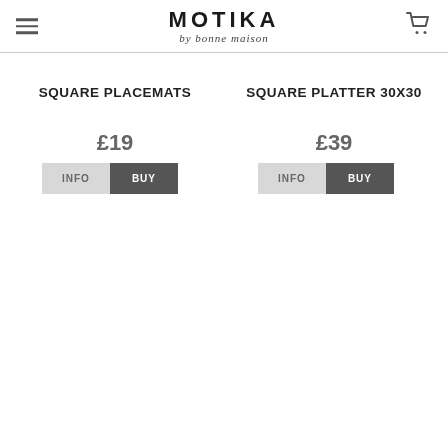MOTIKA by bonne maison
SQUARE PLACEMATS
£19
INFO | BUY
SQUARE PLATTER 30X30
£39
INFO | BUY